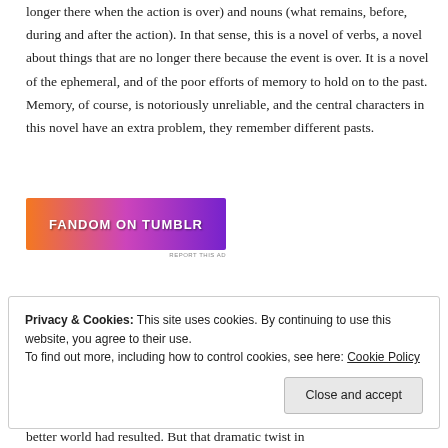longer there when the action is over) and nouns (what remains, before, during and after the action). In that sense, this is a novel of verbs, a novel about things that are no longer there because the event is over. It is a novel of the ephemeral, and of the poor efforts of memory to hold on to the past. Memory, of course, is notoriously unreliable, and the central characters in this novel have an extra problem, they remember different pasts.
[Figure (illustration): Fandom on Tumblr advertisement banner with orange-to-purple gradient background and bold white text reading FANDOM ON tumblr, with decorative icons. Includes REPORT THIS AD text below.]
Privacy & Cookies: This site uses cookies. By continuing to use this website, you agree to their use.
To find out more, including how to control cookies, see here: Cookie Policy
[Close and accept button]
better world had resulted. But that dramatic twist in